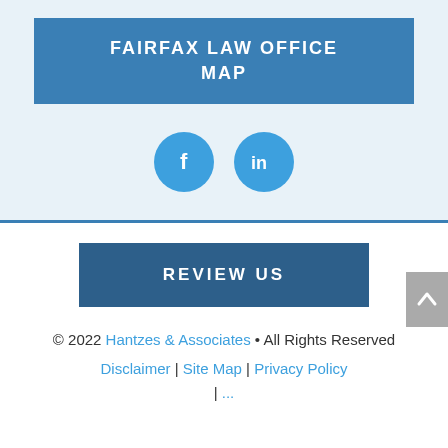FAIRFAX LAW OFFICE MAP
[Figure (illustration): Two social media icon circles: Facebook (f) and LinkedIn (in) in bright blue]
REVIEW US
© 2022 Hantzes & Associates • All Rights Reserved
Disclaimer | Site Map | Privacy Policy |
[Figure (other): Scroll to top button with upward arrow, grey background]